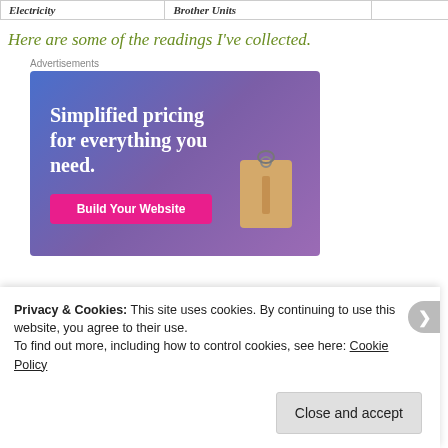| Electricity | Brother Units |
Here are some of the readings I've collected.
Advertisements
[Figure (illustration): Advertisement banner with gradient blue-purple background reading 'Simplified pricing for everything you need.' with a pink 'Build Your Website' button and a price tag graphic]
Privacy & Cookies: This site uses cookies. By continuing to use this website, you agree to their use.
To find out more, including how to control cookies, see here: Cookie Policy